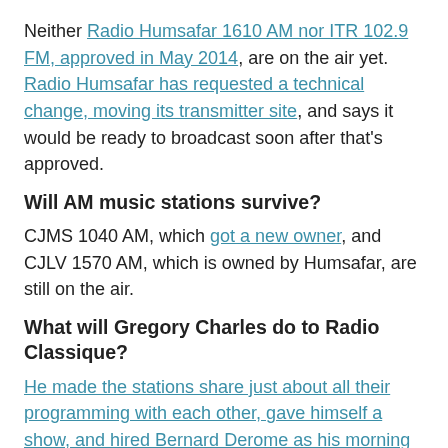Neither Radio Humsafar 1610 AM nor ITR 102.9 FM, approved in May 2014, are on the air yet. Radio Humsafar has requested a technical change, moving its transmitter site, and says it would be ready to broadcast soon after that's approved.
Will AM music stations survive?
CJMS 1040 AM, which got a new owner, and CJLV 1570 AM, which is owned by Humsafar, are still on the air.
What will Gregory Charles do to Radio Classique?
He made the stations share just about all their programming with each other, gave himself a show, and hired Bernard Derome as his morning man.
Will Radio 9 succeed where Radio X didn't?